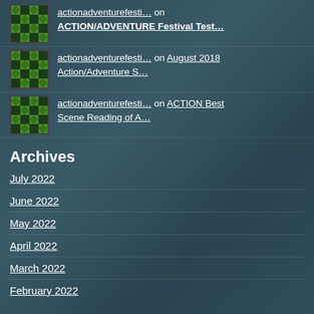actionadventurefesti… on ACTION/ADVENTURE Festival Test…
actionadventurefesti… on August 2018 Action/Adventure S…
actionadventurefesti… on ACTION Best Scene Reading of A…
Archives
July 2022
June 2022
May 2022
April 2022
March 2022
February 2022